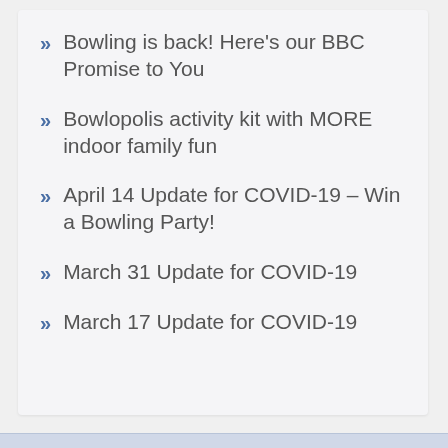Bowling is back! Here's our BBC Promise to You
Bowlopolis activity kit with MORE indoor family fun
April 14 Update for COVID-19 – Win a Bowling Party!
March 31 Update for COVID-19
March 17 Update for COVID-19